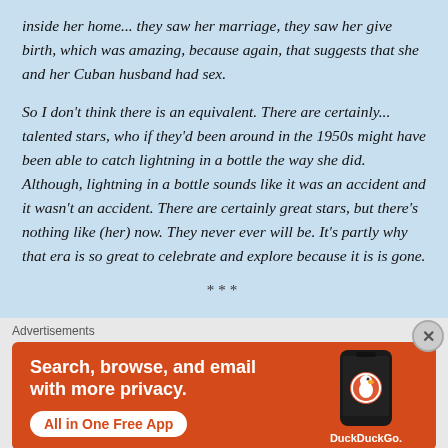inside her home... they saw her marriage, they saw her give birth, which was amazing, because again, that suggests that she and her Cuban husband had sex.
So I don't think there is an equivalent. There are certainly... talented stars, who if they'd been around in the 1950s might have been able to catch lightning in a bottle the way she did. Although, lightning in a bottle sounds like it was an accident and it wasn't an accident. There are certainly great stars, but there's nothing like (her) now. They never ever will be. It's partly why that era is so great to celebrate and explore because it is is gone.
***
Advertisements
[Figure (other): DuckDuckGo advertisement banner with orange background. Text reads 'Search, browse, and email with more privacy. All in One Free App'. Shows a phone with DuckDuckGo logo.]